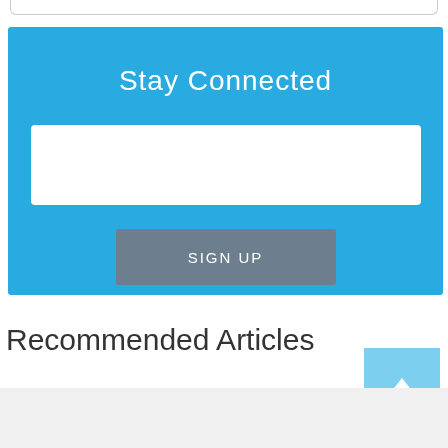[Figure (screenshot): Blue 'Stay Connected' newsletter signup box with white input field and gray 'SIGN UP' button]
Recommended Articles
[Figure (other): Light blue scroll-to-top button with white upward arrow icon]